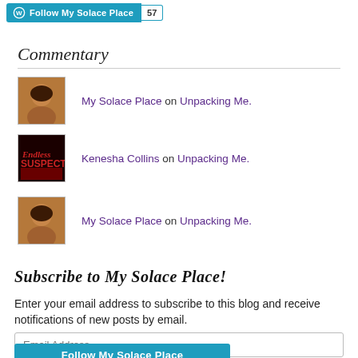Follow My Solace Place | 57
Commentary
My Solace Place on Unpacking Me.
Kenesha Collins on Unpacking Me.
My Solace Place on Unpacking Me.
Subscribe to My Solace Place!
Enter your email address to subscribe to this blog and receive notifications of new posts by email.
Email Address
Follow My Solace Place